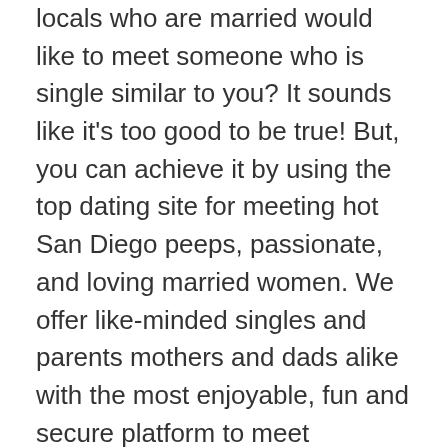locals who are married would like to meet someone who is single similar to you? It sounds like it's too good to be true! But, you can achieve it by using the top dating site for meeting hot San Diego peeps, passionate, and loving married women. We offer like-minded singles and parents mothers and dads alike with the most enjoyable, fun and secure platform to meet potential partners. You can talk with married women and men and casually or seriously and even arrange an instant, one-time meeting. Being single can make it hard to meet someone serious. This issue can be resolved! Join SanDiegoHookup.com today, and begin chatting, flirting, dating or connecting with your perfect partner. If you're looking to meet with serious intent, you must fall in love and meet an ongoing partner. You can also meet on a casual basis, and get the number of hook-ups you want. Join online and make dating enjoyable! Singles can also hook up! Find